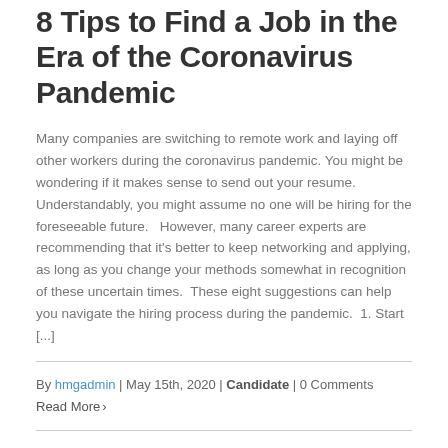8 Tips to Find a Job in the Era of the Coronavirus Pandemic
Many companies are switching to remote work and laying off other workers during the coronavirus pandemic. You might be wondering if it makes sense to send out your resume. Understandably, you might assume no one will be hiring for the foreseeable future.   However, many career experts are recommending that it's better to keep networking and applying, as long as you change your methods somewhat in recognition of these uncertain times.  These eight suggestions can help you navigate the hiring process during the pandemic.  1. Start [...]
By hmgadmin | May 15th, 2020 | Candidate | 0 Comments
Read More ›